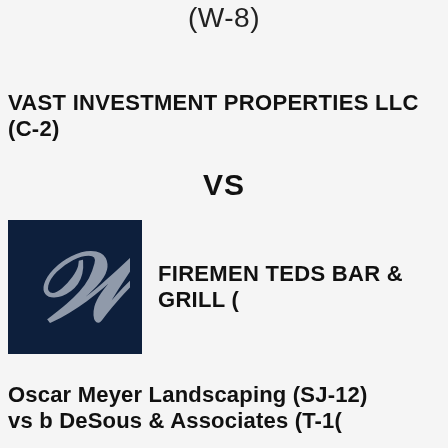(W-8)
VAST INVESTMENT PROPERTIES LLC (C-2)
VS
[Figure (logo): Dark navy blue square logo with a cursive silver/gray letter W]
FIREMEN TEDS BAR & GRILL (
Oscar Meyer Landscaping (SJ-12)
vs b DeSous & Associates (T-1(